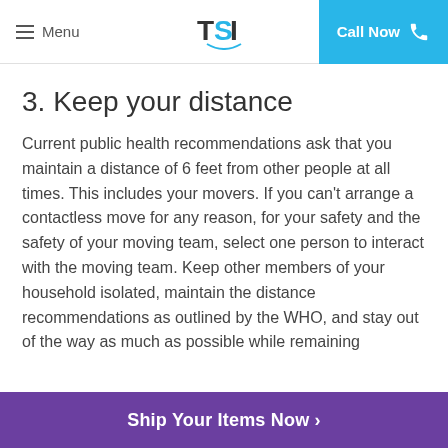Menu | TSI | Call Now
3. Keep your distance
Current public health recommendations ask that you maintain a distance of 6 feet from other people at all times. This includes your movers. If you can't arrange a contactless move for any reason, for your safety and the safety of your moving team, select one person to interact with the moving team. Keep other members of your household isolated, maintain the distance recommendations as outlined by the WHO, and stay out of the way as much as possible while remaining available to answer questions or sign paperwork.
4. Moving supplies
Ship Your Items Now ›